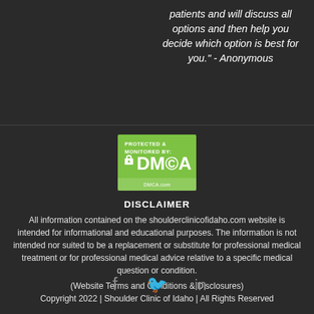patients and will discuss all options and then help you decide which option is best for you." - Anonymous
[Figure (logo): DMCA Protected & Monitored By badge - green rectangle with lock icon and DMCA text in white]
DISCLAIMER
All information contained on the shoulderclinicofidaho.com website is intended for informational and educational purposes. The information is not intended nor suited to be a replacement or substitute for professional medical treatment or for professional medical advice relative to a specific medical question or condition.
(Website Terms and Conditions & Disclosures)
Copyright 2022 | Shoulder Clinic of Idaho | All Rights Reserved
[Figure (other): Social media icons: Facebook, Twitter, LinkedIn]